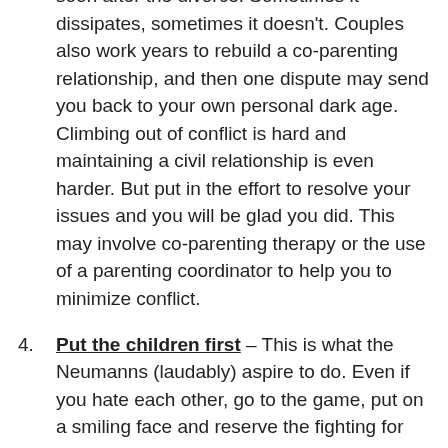soon after the divorce. Sometimes it dissipates, sometimes it doesn't. Couples also work years to rebuild a co-parenting relationship, and then one dispute may send you back to your own personal dark age. Climbing out of conflict is hard and maintaining a civil relationship is even harder. But put in the effort to resolve your issues and you will be glad you did. This may involve co-parenting therapy or the use of a parenting coordinator to help you to minimize conflict.
Put the children first – This is what the Neumanns (laudably) aspire to do. Even if you hate each other, go to the game, put on a smiling face and reserve the fighting for your 3 AM email exchange. It may be difficult,